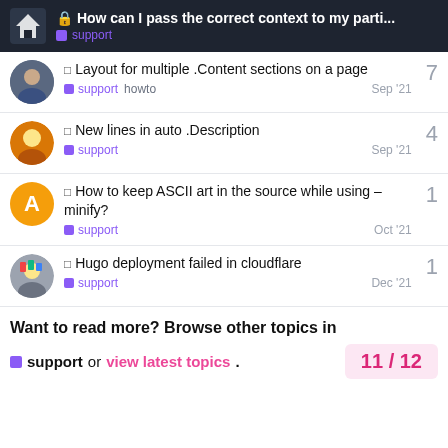🔒 How can I pass the correct context to my parti... | support
Layout for multiple .Content sections on a page | support howto | Sep '21 | 7
New lines in auto .Description | support | Sep '21 | 4
How to keep ASCII art in the source while using –minify? | support | Oct '21 | 1
Hugo deployment failed in cloudflare | support | Dec '21 | 1
Want to read more? Browse other topics in support or view latest topics.
11 / 12